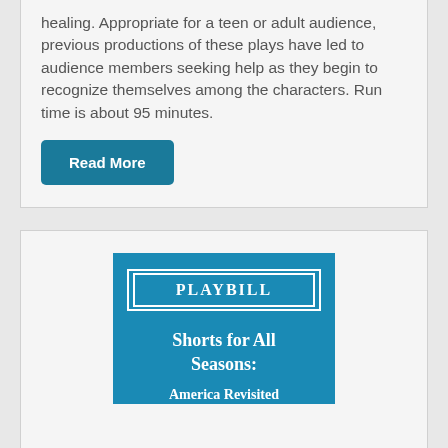healing. Appropriate for a teen or adult audience, previous productions of these plays have led to audience members seeking help as they begin to recognize themselves among the characters. Run time is about 95 minutes.
Read More
[Figure (illustration): Playbill program cover with teal/blue background showing PLAYBILL logo in a double-bordered rectangle, title 'Shorts for All Seasons:' in bold white serif text, and subtitle 'America Revisited' in bold white serif text.]